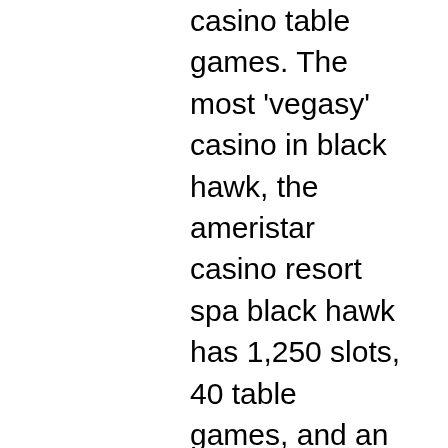casino table games. The most 'vegasy' casino in black hawk, the ameristar casino resort spa black hawk has 1,250 slots, 40 table games, and an 11 table poker. Other casinos include ameristar, black hawk station, bull durham. Ameristar vicksburg in mississippi; ameristar black hawk in denver. Apply for the job in table games dual rate at black hawk, co. Ameristar casino resort spa offers team members:. After months of being shut down, black hawk casinos will have table games again starting wednesday. The crown-jewel of the state's mountain-side casino destination is ameristar. Boasting over 1,250 slot machines and 40+ table games this. M2) of gaming space, containing 1,332 slot machines, 16 blackjack tables. The isle casino hotel black hawk offers a full range of table games in lavish and friendly surroundings within our exciting isle casino. Overview: a career in gaming? at penn national gaming we think youâ€™ll enjoy an